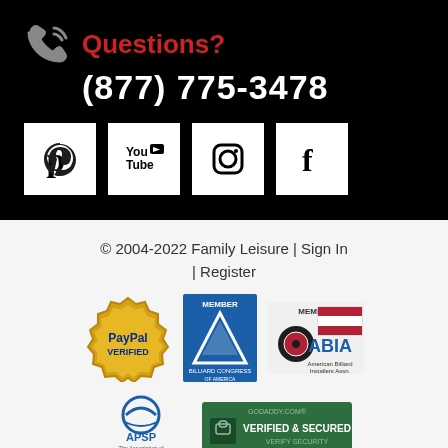[Figure (infographic): Black background section with phone icon, 'Questions?' in red, phone number (877) 775-3478 in white, and four social media icons (Pinterest, YouTube, Instagram, Facebook) in white boxes]
© 2004-2022 Family Leisure | Sign In | Register
[Figure (logo): PayPal Verified badge (gold seal)]
[Figure (logo): Billiard Congress of America Member badge (blue triangle logo)]
[Figure (logo): ABIA Member badge with billiard ball and American flag stripes]
[Figure (logo): APSP - The Association of Pool & Spa Professionals logo]
[Figure (logo): GoDaddy.com Verified & Secured badge (dark green)]
[Figure (logo): BBB Accredited Business badge (teal/white)]